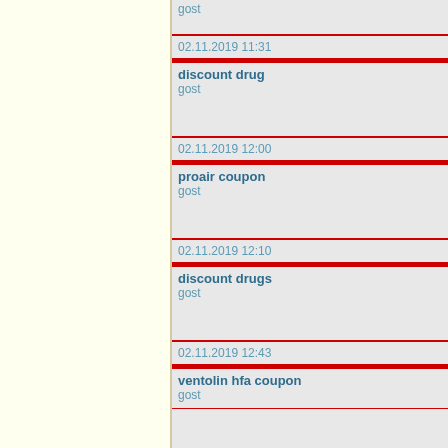gost
02.11.2019 11:31
discount drug
gost
02.11.2019 12:00
proair coupon
gost
02.11.2019 12:10
discount drugs
gost
02.11.2019 12:43
ventolin hfa coupon
gost